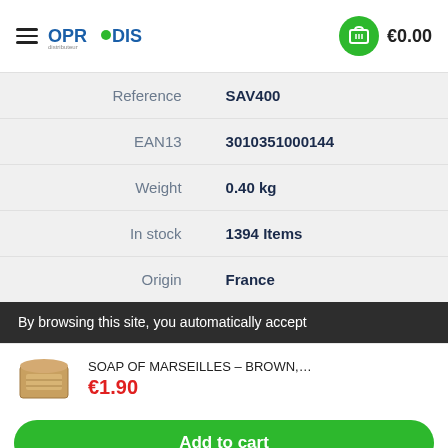OPRODIS €0.00
| Field | Value |
| --- | --- |
| Reference | SAV400 |
| EAN13 | 3010351000144 |
| Weight | 0.40 kg |
| In stock | 1394 Items |
| Origin | France |
By browsing this site, you automatically accept
[Figure (photo): Brown soap of Marseilles product thumbnail]
SOAP OF MARSEILLES - BROWN,...
€1.90
Add to cart